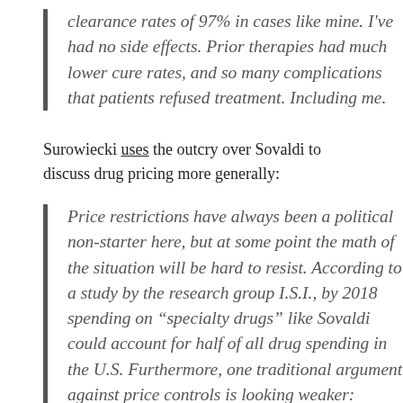clearance rates of 97% in cases like mine. I've had no side effects. Prior therapies had much lower cure rates, and so many complications that patients refused treatment. Including me.
Surowiecki uses the outcry over Sovaldi to discuss drug pricing more generally:
Price restrictions have always been a political non-starter here, but at some point the math of the situation will be hard to resist. According to a study by the research group I.S.I., by 2018 spending on “specialty drugs” like Sovaldi could account for half of all drug spending in the U.S. Furthermore, one traditional argument against price controls is looking weaker: biotech